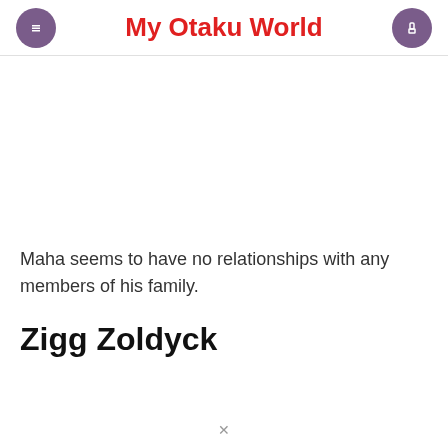My Otaku World
Maha seems to have no relationships with any members of his family.
Zigg Zoldyck